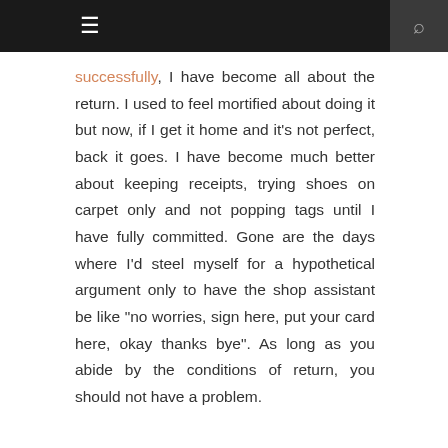≡  🔍
successfully, I have become all about the return. I used to feel mortified about doing it but now, if I get it home and it's not perfect, back it goes. I have become much better about keeping receipts, trying shoes on carpet only and not popping tags until I have fully committed. Gone are the days where I'd steel myself for a hypothetical argument only to have the shop assistant be like "no worries, sign here, put your card here, okay thanks bye". As long as you abide by the conditions of return, you should not have a problem.